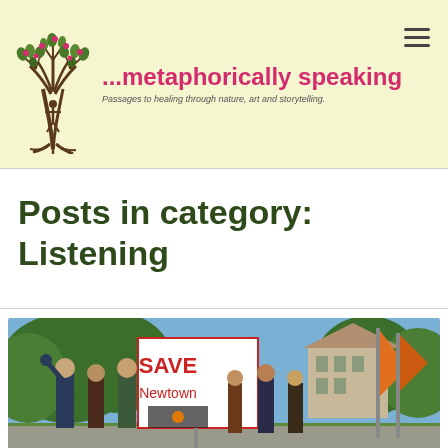[Figure (logo): Tree logo with people figures, stylized branches and red berry dots, with text '...metaphorically speaking' in pink/red and tagline 'Passages to healing through nature, art and storytelling.' in dark italic]
Posts in category:
Listening
[Figure (photo): Outdoor protest or rally scene with people holding a 'SAVE Newtown' sign and other banners/flags. Trees and a building visible in the background under a blue sky.]